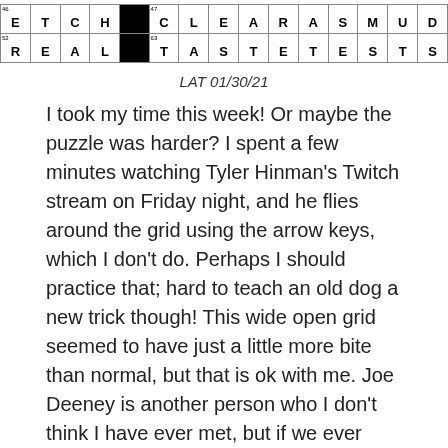[Figure (other): Partial crossword grid showing two rows: row 1: E T C H [black] C L E A R A S M U D, row 2: R E A L [black] T A S T E T E S T S]
LAT 01/30/21
I took my time this week! Or maybe the puzzle was harder? I spent a few minutes watching Tyler Hinman's Twitch stream on Friday night, and he flies around the grid using the arrow keys, which I don't do. Perhaps I should practice that; hard to teach an old dog a new trick though! This wide open grid seemed to have just a little more bite than normal, but that is ok with me. Joe Deeney is another person who I don't think I have ever met, but if we ever have live tournaments again, I would love to say hi to him. Another wonderful themeless by Joe today; 4.5 stars.
A few highlights: